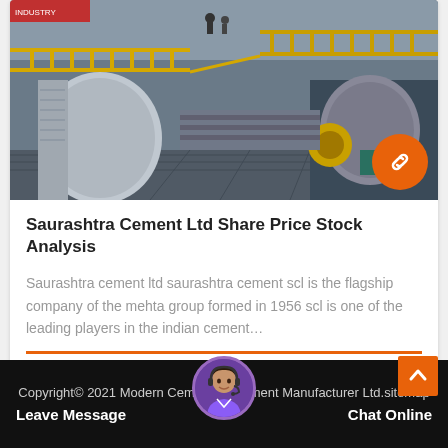[Figure (photo): Industrial cement factory interior showing large cylindrical grinding mills, yellow metal walkways/railings, steel machinery and equipment in a factory setting]
Saurashtra Cement Ltd Share Price Stock Analysis
Saurashtra cement ltd saurashtra cement scl is the flagship company of the mehta group formed in 1956 scl is one of the leading players in the indian cement…
Copyright© 2021 Modern Cement Equipment Manufacturer Ltd.sitemap Leave Message Chat Online